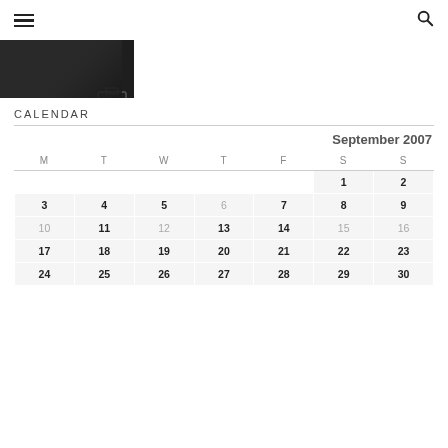hamburger menu | search icon
[Figure (photo): Dark photograph of what appears to be a bag or furniture item, cropped at top of page]
CALENDAR
| M | T | W | T | F | S | S |
| --- | --- | --- | --- | --- | --- | --- |
|  |  |  |  |  | 1 | 2 |
| 3 | 4 | 5 | 6 | 7 | 8 | 9 |
| 10 | 11 | 12 | 13 | 14 | 15 | 16 |
| 17 | 18 | 19 | 20 | 21 | 22 | 23 |
| 24 | 25 | 26 | 27 | 28 | 29 | 30 |